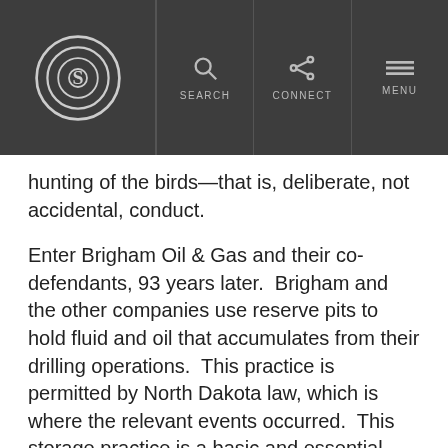S | SEARCH | CONNECT | MENU
hunting of the birds—that is, deliberate, not accidental, conduct.
Enter Brigham Oil & Gas and their co-defendants, 93 years later.  Brigham and the other companies use reserve pits to hold fluid and oil that accumulates from their drilling operations.  This practice is permitted by North Dakota law, which is where the relevant events occurred.  This storage practice is a basic and essential function of the business, and it is not intended to harm birds or any other wildlife.
But that did not matter to U.S. Attorney Timothy Purdon or the United States Fish & Wildlife Service in North Dakota.  The U.S. Attorney filed a criminal